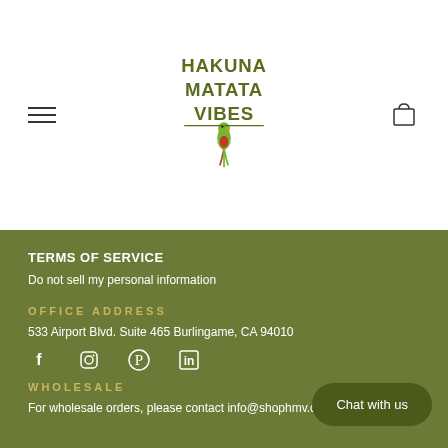[Figure (logo): Hakuna Matata Vibes logo with parrot and text]
TERMS OF SERVICE
Do not sell my personal information
OFFICE ADDRESS
533 Airport Blvd. Suite 465 Burlingame, CA 94010
[Figure (other): Social media icons: Facebook, Instagram, Pinterest, LinkedIn]
WHOLESALE
For wholesale orders, please contact info@shophmv.com with